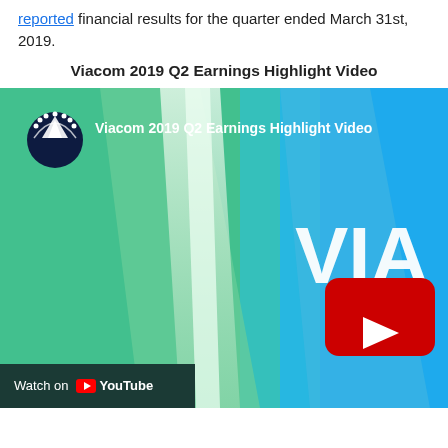reported financial results for the quarter ended March 31st, 2019.
Viacom 2019 Q2 Earnings Highlight Video
[Figure (screenshot): YouTube embedded video thumbnail for Viacom 2019 Q2 Earnings Highlight Video, showing teal/green geometric background with Paramount logo, YouTube play button, and partial 'VIA' text on blue background. 'Watch on YouTube' bar at bottom.]